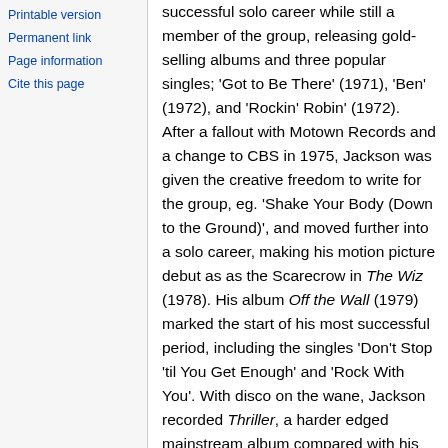Printable version
Permanent link
Page information
Cite this page
successful solo career while still a member of the group, releasing gold-selling albums and three popular singles; 'Got to Be There' (1971), 'Ben' (1972), and 'Rockin' Robin' (1972). After a fallout with Motown Records and a change to CBS in 1975, Jackson was given the creative freedom to write for the group, eg. 'Shake Your Body (Down to the Ground)', and moved further into a solo career, making his motion picture debut as as the Scarecrow in The Wiz (1978). His album Off the Wall (1979) marked the start of his most successful period, including the singles 'Don't Stop 'til You Get Enough' and 'Rock With You'. With disco on the wane, Jackson recorded Thriller, a harder edged mainstream album compared with his previous releases, and the move payed dividends